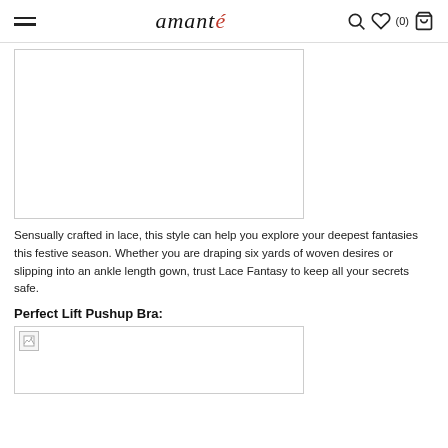amanté
[Figure (photo): Product image placeholder (white box with border)]
Sensually crafted in lace, this style can help you explore your deepest fantasies this festive season. Whether you are draping six yards of woven desires or slipping into an ankle length gown, trust Lace Fantasy to keep all your secrets safe.
Perfect Lift Pushup Bra:
[Figure (photo): Product image placeholder with broken image icon]